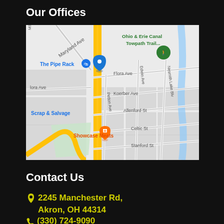Our Offices
[Figure (map): Google Maps view showing area near 2245 Manchester Rd, Akron OH 44314. Shows streets including Maryland Ave, Flora Ave, Koerber Ave, Allenford St, Celtic St, Stanford St, Edwin Ave, Nesmith Lake Blvd, Petton Ave. Landmarks include The Pipe Rack, Ohio & Erie Canal Towpath Trail, Scrap & Salvage, Showcase Meats. A yellow highway runs vertically. Blue river on the right. Blue location pin marker visible.]
Contact Us
2245 Manchester Rd, Akron, OH 44314
(330) 724-9090